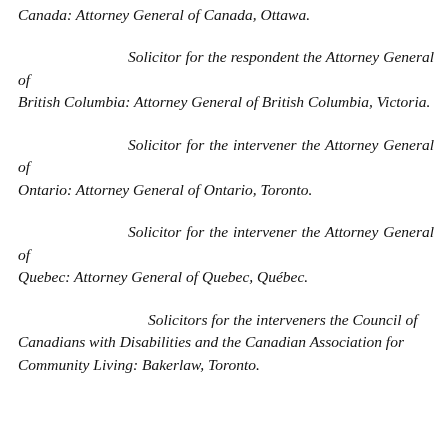Canada:  Attorney General of Canada, Ottawa.
Solicitor for the respondent the Attorney General of British Columbia:  Attorney General of British Columbia, Victoria.
Solicitor for the intervener the Attorney General of Ontario:  Attorney General of Ontario, Toronto.
Solicitor for the intervener the Attorney General of Quebec:  Attorney General of Quebec, Québec.
Solicitors for the interveners the Council of Canadians with Disabilities and the Canadian Association for Community Living:  Bakerlaw, Toronto.